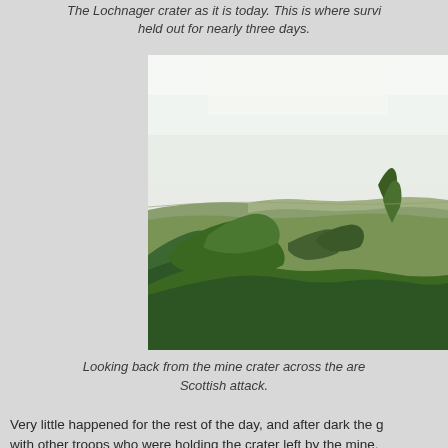The Lochnager crater as it is today. This is where surv… held out for nearly three days.
[Figure (photo): Photograph of the Lochnager crater area showing lush green vegetation, bushes and trees in the foreground with open farmland and a pale sky in the background.]
Looking back from the mine crater across the are… Scottish attack.
Very little happened for the rest of the day, and after dark the g… with other troops who were holding the crater left by the mine. more or less unaware of the situation for several hours. The Su… has an entry timed at 10.11 a.m. which states "102nd Bde re…